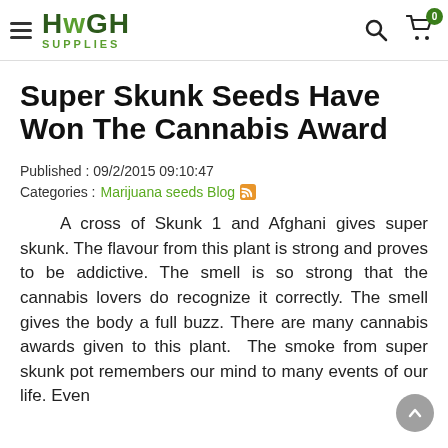HIGH SUPPLIES
Super Skunk Seeds Have Won The Cannabis Award
Published : 09/2/2015 09:10:47
Categories : Marijuana seeds Blog
A cross of Skunk 1 and Afghani gives super skunk. The flavour from this plant is strong and proves to be addictive. The smell is so strong that the cannabis lovers do recognize it correctly. The smell gives the body a full buzz. There are many cannabis awards given to this plant.  The smoke from super skunk pot remembers our mind to many events of our life. Even